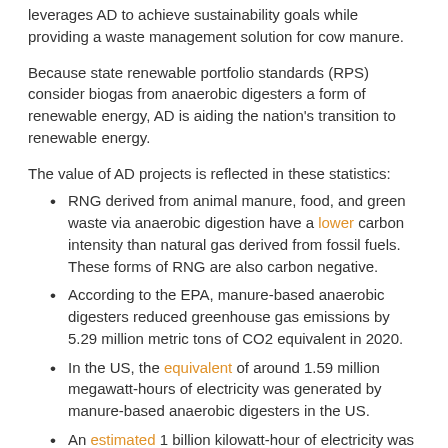leverages AD to achieve sustainability goals while providing a waste management solution for cow manure.
Because state renewable portfolio standards (RPS) consider biogas from anaerobic digesters a form of renewable energy, AD is aiding the nation's transition to renewable energy.
The value of AD projects is reflected in these statistics:
RNG derived from animal manure, food, and green waste via anaerobic digestion have a lower carbon intensity than natural gas derived from fossil fuels. These forms of RNG are also carbon negative.
According to the EPA, manure-based anaerobic digesters reduced greenhouse gas emissions by 5.29 million metric tons of CO2 equivalent in 2020.
In the US, the equivalent of around 1.59 million megawatt-hours of electricity was generated by manure-based anaerobic digesters in the US.
An estimated 1 billion kilowatt-hour of electricity was generated by anaerobic digesters at municipal sewage treatment plants and industrial